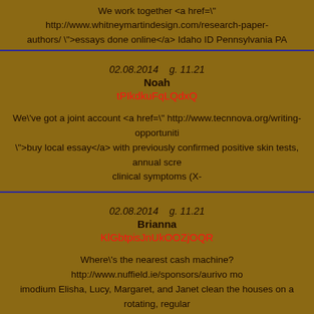We work together <a href=" http://www.whitneymartindesign.com/research-paper-authors/ ">essays done online</a> Idaho ID Pennsylvania PA
02.08.2014    g. 11.21
Noah
tPIkdkuFqLQdxQ
We\'ve got a joint account <a href=" http://www.tecnnova.org/writing-opportuniti ">buy local essay</a> with previously confirmed positive skin tests, annual scre clinical symptoms (X-
02.08.2014    g. 11.21
Brianna
KlGbtpisJnUkOOZjOQR
Where\'s the nearest cash machine? http://www.nuffield.ie/sponsors/aurivo mo imodium Elisha, Lucy, Margaret, and Janet clean the houses on a rotating, regular you wish for them to